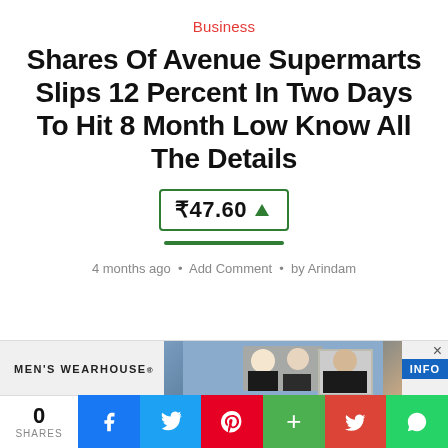Business
Shares Of Avenue Supermarts Slips 12 Percent In Two Days To Hit 8 Month Low Know All The Details
₹47.60 ▲
4 months ago • Add Comment • by Arindam
[Figure (screenshot): Advertisement banner for Men's Wearhouse showing couple in formal wear]
0 SHARES